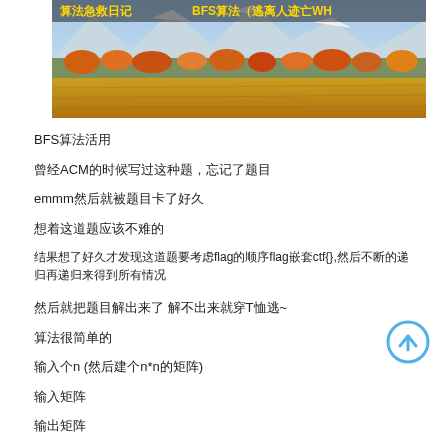[Figure (photo): Landscape photo with snow-capped mountains in background, autumn orange trees in middle ground, open field in foreground. Overlaid text at top reads Chinese characters and 'BFS算法（逃离人迹亡WH']
BFS算法活用
曾经ACM的时候写过这种题，忘记了题目
emmm然后就被题目卡了好久
想着这道题应该不难的
结果想了好久才发现这道题要考虑flag的顺序flag嵌套ctf{},然后不断的递归再递归来得到所有情况
然后就把题目解出来了 解不出来就穿T恤逃~
算法很简单的
输入个n (然后建个n*n的矩阵)
输入矩阵
输出矩阵